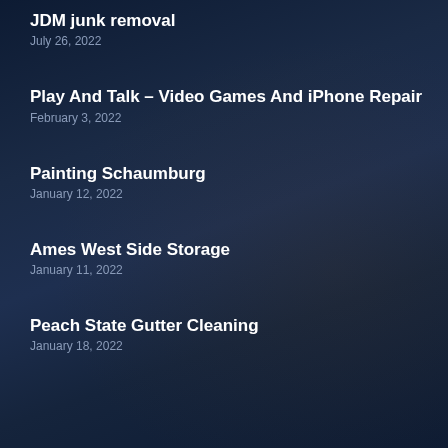JDM junk removal
July 26, 2022
Play And Talk – Video Games And iPhone Repair
February 3, 2022
Painting Schaumburg
January 12, 2022
Ames West Side Storage
January 11, 2022
Peach State Gutter Cleaning
January 18, 2022